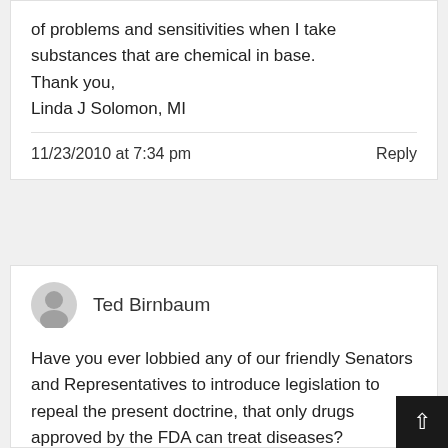of problems and sensitivities when I take substances that are chemical in base.
Thank you,
Linda J Solomon, MI
11/23/2010 at 7:34 pm
Reply
Ted Birnbaum
Have you ever lobbied any of our friendly Senators and Representatives to introduce legislation to repeal the present doctrine, that only drugs approved by the FDA can treat diseases?